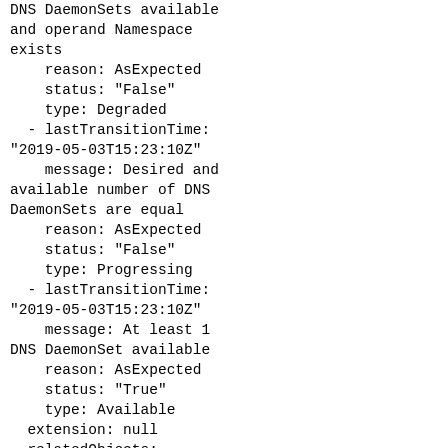DNS DaemonSets available
and operand Namespace
exists
    reason: AsExpected
    status: "False"
    type: Degraded
  - lastTransitionTime:
"2019-05-03T15:23:10Z"
    message: Desired and
available number of DNS
DaemonSets are equal
    reason: AsExpected
    status: "False"
    type: Progressing
  - lastTransitionTime:
"2019-05-03T15:23:10Z"
    message: At least 1
DNS DaemonSet available
    reason: AsExpected
    status: "True"
    type: Available
  extension: null
  relatedObjects:
  - group: ""
    name: openshift-dns-
operator
    resource: namespaces
  - group: ""
    name: openshift-dns
    resource: namespaces